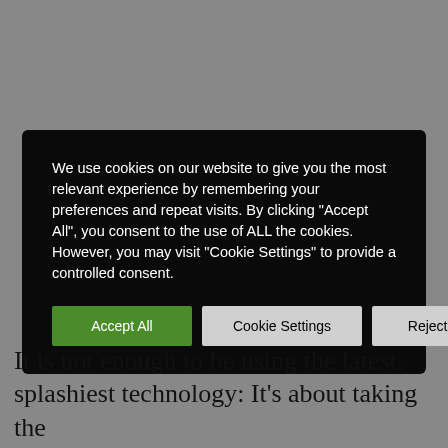[Figure (screenshot): Cookie consent banner with black background, containing text about cookie usage and three buttons: Accept All (green), Cookie Settings (light gray), and Reject All (light gray)]
It is not enough to be using the latest, splashiest technology: It’s about taking the